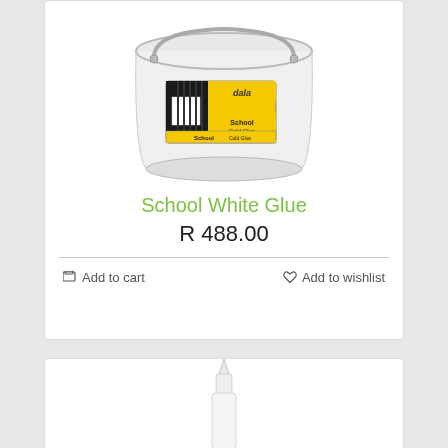[Figure (photo): Large white plastic bucket of Dala School White Glue with yellow and black label]
School White Glue
R 488.00
Add to cart
Add to wishlist
[Figure (photo): White glue bottle with pointed tip applicator, partially visible at bottom of page]